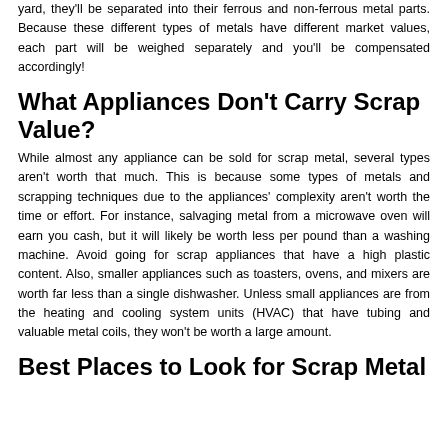yard, they'll be separated into their ferrous and non-ferrous metal parts. Because these different types of metals have different market values, each part will be weighed separately and you'll be compensated accordingly!
What Appliances Don't Carry Scrap Value?
While almost any appliance can be sold for scrap metal, several types aren't worth that much. This is because some types of metals and scrapping techniques due to the appliances' complexity aren't worth the time or effort. For instance, salvaging metal from a microwave oven will earn you cash, but it will likely be worth less per pound than a washing machine. Avoid going for scrap appliances that have a high plastic content. Also, smaller appliances such as toasters, ovens, and mixers are worth far less than a single dishwasher. Unless small appliances are from the heating and cooling system units (HVAC) that have tubing and valuable metal coils, they won't be worth a large amount.
Best Places to Look for Scrap Metal